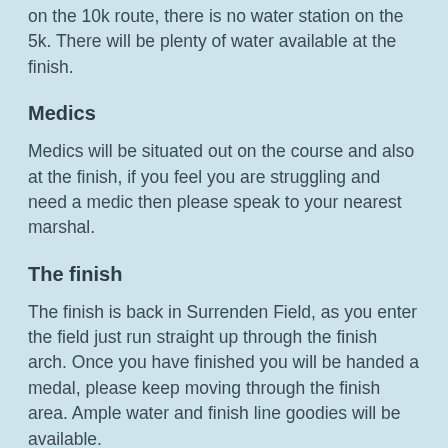on the 10k route, there is no water station on the 5k.  There will be plenty of water available at the finish.
Medics
Medics will be situated out on the course and also at the finish, if you feel you are struggling and need a medic then please speak to your nearest marshal.
The finish
The finish is back in Surrenden Field, as you enter the field just run straight up through the finish arch.  Once you have finished you will be handed a medal, please keep moving through the finish area.  Ample water and finish line goodies will be available.